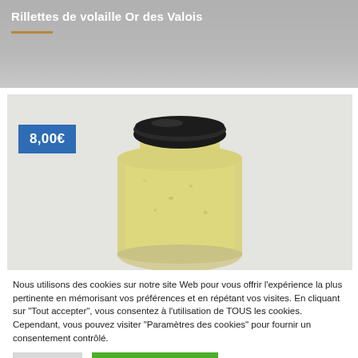Rillettes de volaille Or des Valois
[Figure (photo): A glass jar with a black lid containing a pale yellow/cream-colored spread (rillettes de volaille), displayed against a light grey/off-white background. A blue price badge showing '8,00€' is overlaid in the upper-left of the image.]
Nous utilisons des cookies sur notre site Web pour vous offrir l'expérience la plus pertinente en mémorisant vos préférences et en répétant vos visites. En cliquant sur "Tout accepter", vous consentez à l'utilisation de TOUS les cookies. Cependant, vous pouvez visiter "Paramètres des cookies" pour fournir un consentement contrôlé.
Réglages
Accepter les cookies